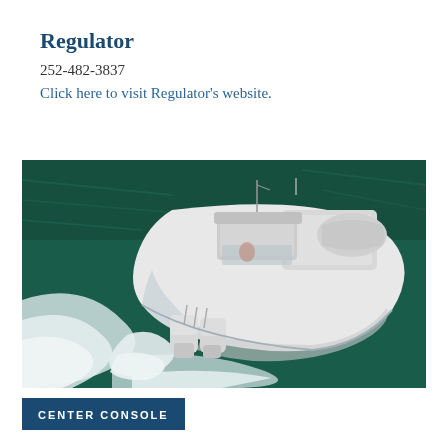Regulator
252-482-3837
Click here to visit Regulator's website.
[Figure (photo): Aerial view of a white center console motorboat speeding across dark green ocean water, creating white wake spray. The boat has twin outboard engines and a hardtop with electronics.]
CENTER CONSOLE